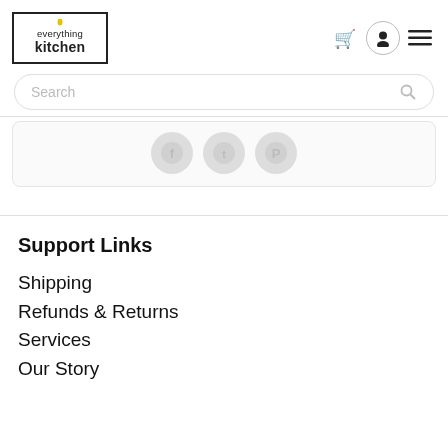[Figure (logo): Everything Kitchen logo: black bordered rectangle with 'everything kitchen' text and a yellow candle above the 'i']
[Figure (infographic): Header icons: shopping cart, user/person icon in circle, hamburger menu]
[Figure (infographic): Search bar with placeholder text 'Search' and magnifying glass icon]
[Figure (infographic): Three social media circular icons: Facebook, Twitter, Pinterest]
Support Links
Shipping
Refunds & Returns
Services
Our Story